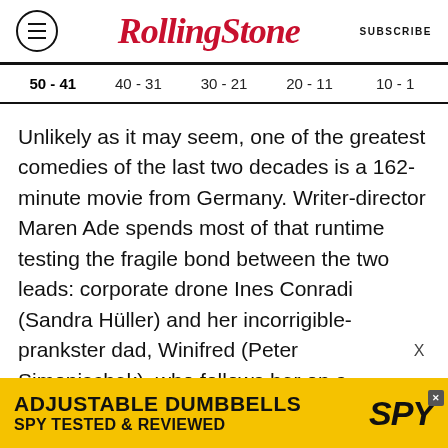RollingStone
50 - 41
40 - 31
30 - 21
20 - 11
10 - 1
Unlikely as it may seem, one of the greatest comedies of the last two decades is a 162-minute movie from Germany. Writer-director Maren Ade spends most of that runtime testing the fragile bond between the two leads: corporate drone Ines Conradi (Sandra Hüller) and her incorrigible-prankster dad, Winifred (Peter Simonischek), who follows her on a business trip to Bucharest. When they inevitably fall out, he puts on a bad wig and re-enters her life as a boorish life coach named
[Figure (other): Advertisement banner for SPY adjustable dumbbells on yellow background]